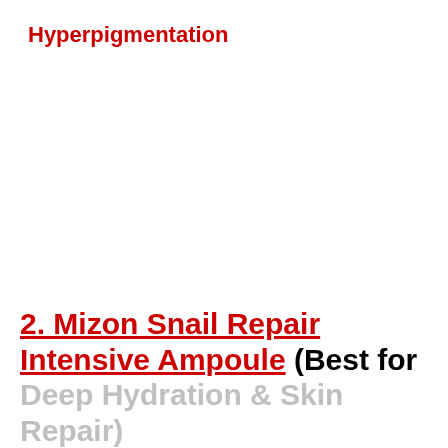Hyperpigmentation
2. Mizon Snail Repair Intensive Ampoule (Best for Deep Hydration & Skin Repair)